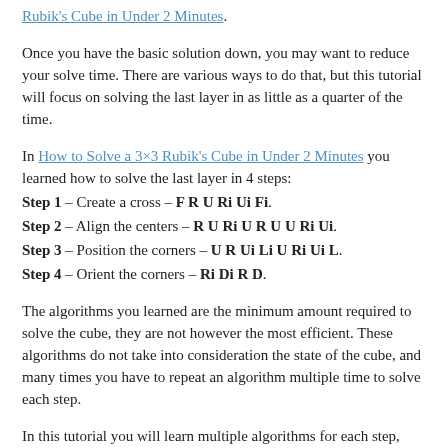Rubik's Cube in Under 2 Minutes.
Once you have the basic solution down, you may want to reduce your solve time. There are various ways to do that, but this tutorial will focus on solving the last layer in as little as a quarter of the time.
In How to Solve a 3×3 Rubik's Cube in Under 2 Minutes you learned how to solve the last layer in 4 steps:
Step 1 – Create a cross – F R U Ri Ui Fi.
Step 2 – Align the centers – R U Ri U R U U Ri Ui.
Step 3 – Position the corners – U R Ui Li U Ri Ui L.
Step 4 – Orient the corners – Ri Di R D.
The algorithms you learned are the minimum amount required to solve the cube, they are not however the most efficient. These algorithms do not take into consideration the state of the cube, and many times you have to repeat an algorithm multiple time to solve each step.
In this tutorial you will learn multiple algorithms for each step, with